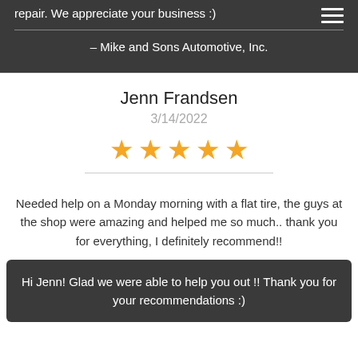repair. We appreciate your business :)
– Mike and Sons Automotive, Inc.
Jenn Frandsen
3/14/2022
[Figure (other): Five gold/orange stars rating]
Needed help on a Monday morning with a flat tire, the guys at the shop were amazing and helped me so much.. thank you for everything, I definitely recommend!!
Hi Jenn! Glad we were able to help you out !! Thank you for your recommendations :)